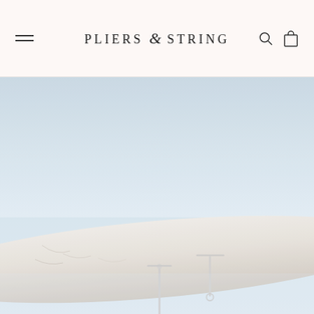PLIERS & STRING — navigation header with hamburger menu, logo, search and cart icons
[Figure (photo): Close-up photo of minimalist silver bar earrings (flat bar studs) resting on a whitewashed driftwood log against a pale blue-grey misty background]